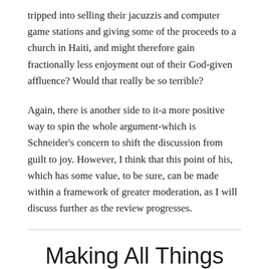tripped into selling their jacuzzis and computer game stations and giving some of the proceeds to a church in Haiti, and might therefore gain fractionally less enjoyment out of their God-given affluence? Would that really be so terrible?
Again, there is another side to it-a more positive way to spin the whole argument-which is Schneider's concern to shift the discussion from guilt to joy. However, I think that this point of his, which has some value, to be sure, can be made within a framework of greater moderation, as I will discuss further as the review progresses.
Making All Things New (Goods of Affluence #2)